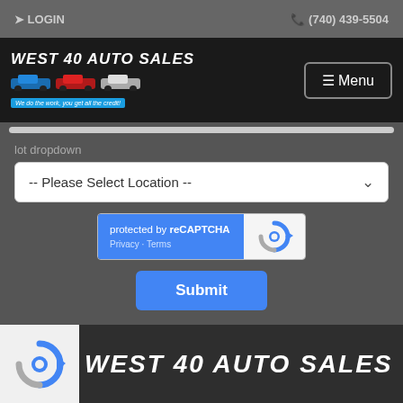LOGIN   (740) 439-5504
[Figure (logo): West 40 Auto Sales logo with cars and tagline 'We do the work, you get all the credit!']
lot dropdown
-- Please Select Location --
[Figure (other): reCAPTCHA widget: 'protected by reCAPTCHA - Privacy - Terms']
Submit
[Figure (logo): West 40 Auto Sales footer logo]
WEST 40 AUTO SALES